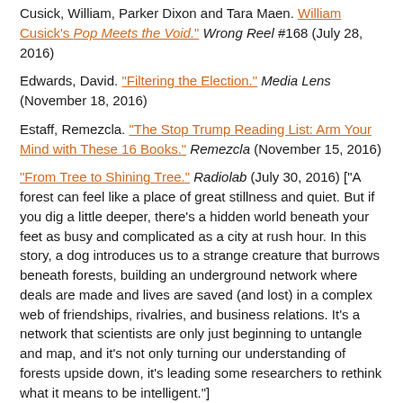Cusick, William, Parker Dixon and Tara Maen. "William Cusick's Pop Meets the Void." Wrong Reel #168 (July 28, 2016)
Edwards, David. "Filtering the Election." Media Lens (November 18, 2016)
Estaff, Remezcla. "The Stop Trump Reading List: Arm Your Mind with These 16 Books." Remezcla (November 15, 2016)
"From Tree to Shining Tree." Radiolab (July 30, 2016) ["A forest can feel like a place of great stillness and quiet. But if you dig a little deeper, there's a hidden world beneath your feet as busy and complicated as a city at rush hour. In this story, a dog introduces us to a strange creature that burrows beneath forests, building an underground network where deals are made and lives are saved (and lost) in a complex web of friendships, rivalries, and business relations. It's a network that scientists are only just beginning to untangle and map, and it's not only turning our understanding of forests upside down, it's leading some researchers to rethink what it means to be intelligent."]